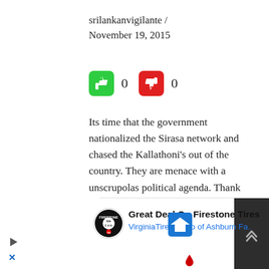srilankanvigilante / November 19, 2015
[Figure (infographic): Thumbs up (green) and thumbs down (red) vote buttons, each showing count 0]
Its time that the government nationalized the Sirasa network and chased the Kallathoni’s out of the country. They are menace with a unscrupolas political agenda. Thank God Buddika Pathirana and Marrikar were not given a post and all other plants lost. But we have Sajith Premadasa and Ravi Karunanayake doing the bidding for them. Sajith is a shameless
[Figure (infographic): Advertisement bar: Firestone Tires logo, text 'Great Deal On Firestone Tires' and 'VirginiaTire & Auto of Ashburn Fa.' with navigation icon. Ad close and scroll-to-top UI elements visible.]